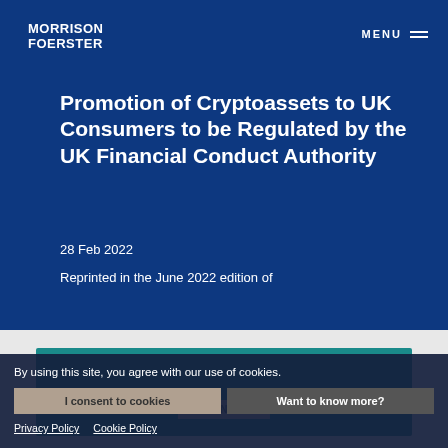MORRISON FOERSTER
Promotion of Cryptoassets to UK Consumers to be Regulated by the UK Financial Conduct Authority
28 Feb 2022
Reprinted in the June 2022 edition of
Keep up with the latest legal and industry insights, news, and events from MoFo
SIGN UP
By using this site, you agree with our use of cookies.
I consent to cookies
Want to know more?
Privacy Policy   Cookie Policy